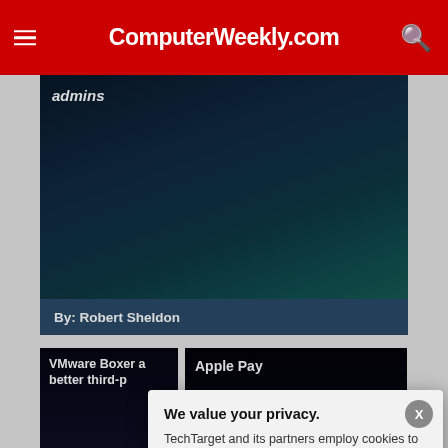ComputerWeekly.com
admins
By: Robert Sheldon
VMware Boxer a better third-p
By: Jon Towles
Apple Pay
We value your privacy.
TechTarget and its partners employ cookies to improve your experience on our site, to analyze traffic and performance, and to serve personalized content and advertising that are relevant to your professional interests. You can manage your settings at any time. Please view our Privacy Policy for more information
OK
Settings